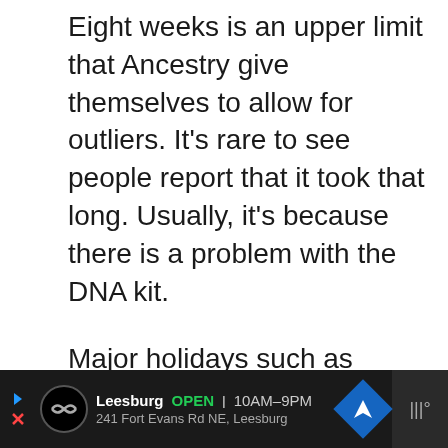Eight weeks is an upper limit that Ancestry give themselves to allow for outliers. It’s rare to see people report that it took that long. Usually, it’s because there is a problem with the DNA kit.
Major holidays such as Christmas and Thanksgiving see a spike in Ancestry DNA kit orders. This can result in delays in the following months for a time.
[Figure (other): Advertisement banner for Leesburg store showing logo, open status, hours 10AM-9PM, address 241 Fort Evans Rd NE Leesburg, navigation arrow icon, and weather widget]